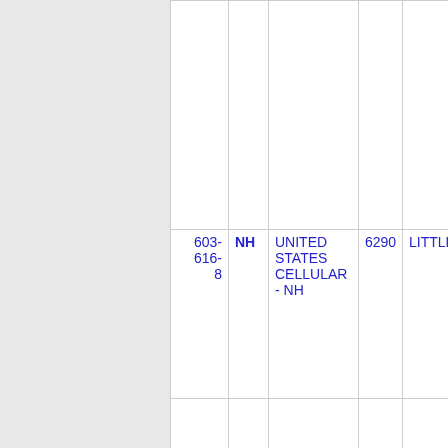| Phone | State | Carrier | ZIP | City |
| --- | --- | --- | --- | --- |
| 603-616-8 | NH | UNITED STATES CELLULAR - NH | 6290 | LITTLETC |